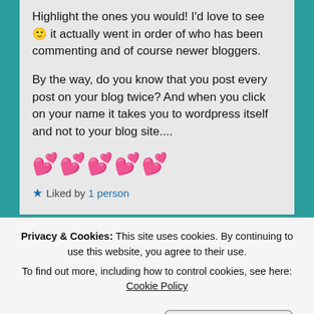Highlight the ones you would! I'd love to see 🙂 it actually went in order of who has been commenting and of course newer bloggers.

By the way, do you know that you post every post on your blog twice? And when you click on your name it takes you to wordpress itself and not to your blog site....
💕💕💕💕💕
★ Liked by 1 person
Privacy & Cookies: This site uses cookies. By continuing to use this website, you agree to their use.
To find out more, including how to control cookies, see here: Cookie Policy
Close and accept